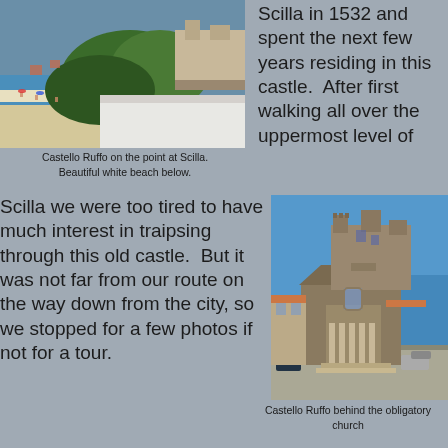[Figure (photo): Aerial view of Castello Ruffo on the point at Scilla with a white sandy beach below and the sea visible]
Castello Ruffo on the point at Scilla. Beautiful white beach below.
Scilla in 1532 and spent the next few years residing in this castle.  After first walking all over the uppermost level of
Scilla we were too tired to have much interest in traipsing through this old castle.  But it was not far from our route on the way down from the city, so we stopped for a few photos if not for a tour.
[Figure (photo): Castello Ruffo castle visible behind a large stone church building, with blue sky and sea in background]
Castello Ruffo behind the obligatory church
[Figure (photo): Green hillside/mountain landscape with blue sky, likely the hills near Scilla]